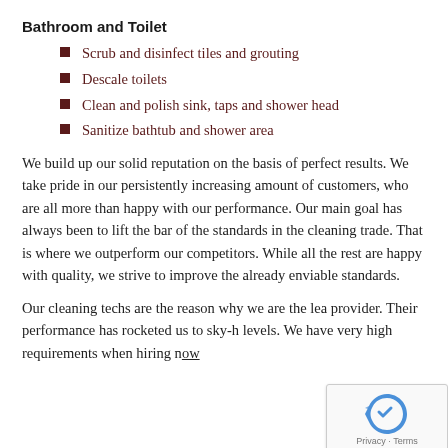Bathroom and Toilet
Scrub and disinfect tiles and grouting
Descale toilets
Clean and polish sink, taps and shower head
Sanitize bathtub and shower area
We build up our solid reputation on the basis of perfect results. We take pride in our persistently increasing amount of customers, who are all more than happy with our performance. Our main goal has always been to lift the bar of the standards in the cleaning trade. That is where we outperform our competitors. While all the rest are happy with quality, we strive to improve the already enviable standards.
Our cleaning techs are the reason why we are the lea provider. Their performance has rocketed us to sky-h levels. We have very high requirements when hiring now